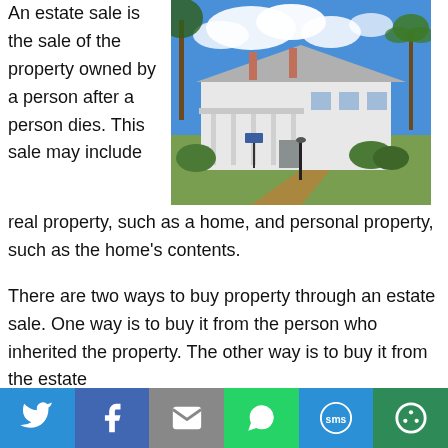An estate sale is the sale of the property owned by a person after a person dies. This sale may include real property, such as a home, and personal property, such as the home's contents.
[Figure (photo): A large white historic mansion with columns, palm trees, and a brick driveway under a blue sky with clouds]
There are two ways to buy property through an estate sale. One way is to buy it from the person who inherited the property. The other way is to buy it from the estate through the executor of the estate. The executor...